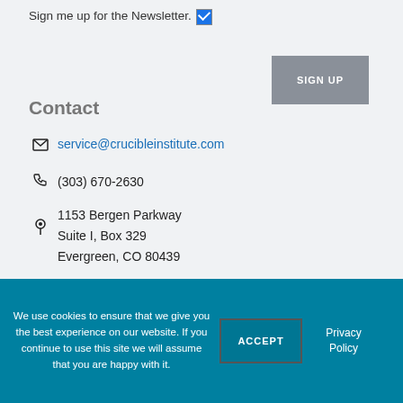Sign me up for the Newsletter.
SIGN UP
Contact
service@crucibleinstitute.com
(303) 670-2630
1153 Bergen Parkway
Suite I, Box 329
Evergreen, CO 80439
Follow on Facebook
We use cookies to ensure that we give you the best experience on our website. If you continue to use this site we will assume that you are happy with it.
ACCEPT
Privacy Policy